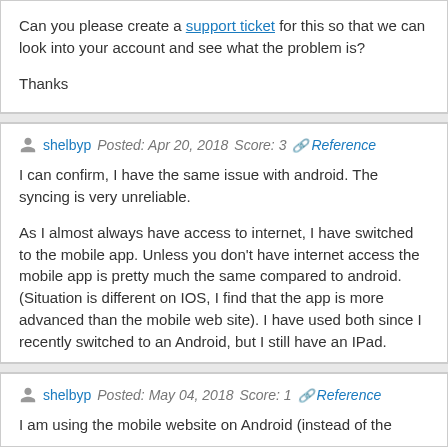Can you please create a support ticket for this so that we can look into your account and see what the problem is?

Thanks
shelbyp  Posted: Apr 20, 2018  Score: 3  Reference
I can confirm, I have the same issue with android. The syncing is very unreliable.

As I almost always have access to internet, I have switched to the mobile app. Unless you don't have internet access the mobile app is pretty much the same compared to android. (Situation is different on IOS, I find that the app is more advanced than the mobile web site). I have used both since I recently switched to an Android, but I still have an IPad.
shelbyp  Posted: May 04, 2018  Score: 1  Reference
I am using the mobile website on Android (instead of the